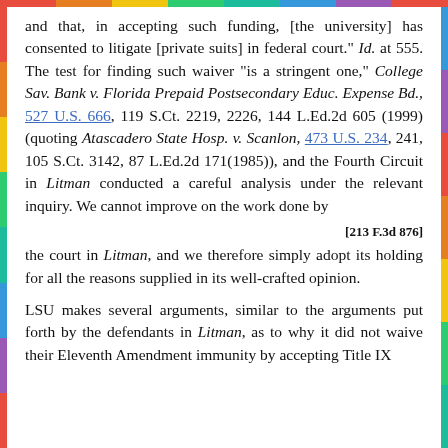and that, in accepting such funding, [the university] has consented to litigate [private suits] in federal court." Id. at 555. The test for finding such waiver "is a stringent one," College Sav. Bank v. Florida Prepaid Postsecondary Educ. Expense Bd., 527 U.S. 666, 119 S.Ct. 2219, 2226, 144 L.Ed.2d 605 (1999) (quoting Atascadero State Hosp. v. Scanlon, 473 U.S. 234, 241, 105 S.Ct. 3142, 87 L.Ed.2d 171(1985)), and the Fourth Circuit in Litman conducted a careful analysis under the relevant inquiry. We cannot improve on the work done by
[213 F.3d 876]
the court in Litman, and we therefore simply adopt its holding for all the reasons supplied in its well-crafted opinion.
LSU makes several arguments, similar to the arguments put forth by the defendants in Litman, as to why it did not waive their Eleventh Amendment immunity by accepting Title IX